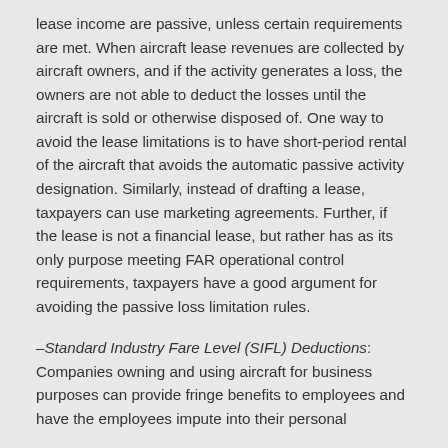lease income are passive, unless certain requirements are met. When aircraft lease revenues are collected by aircraft owners, and if the activity generates a loss, the owners are not able to deduct the losses until the aircraft is sold or otherwise disposed of. One way to avoid the lease limitations is to have short-period rental of the aircraft that avoids the automatic passive activity designation. Similarly, instead of drafting a lease, taxpayers can use marketing agreements. Further, if the lease is not a financial lease, but rather has as its only purpose meeting FAR operational control requirements, taxpayers have a good argument for avoiding the passive loss limitation rules.
–Standard Industry Fare Level (SIFL) Deductions: Companies owning and using aircraft for business purposes can provide fringe benefits to employees and have the employees impute into their personal